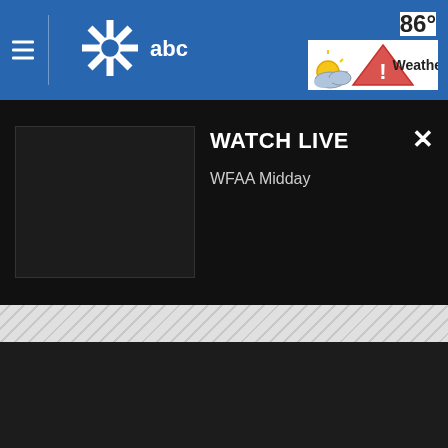[Figure (screenshot): WFAA ABC station logo with white snowflake/star icon and ABC lettering on blue navigation header bar]
86°
[Figure (other): Weather icon showing partly cloudy/sunny conditions, and red warning triangle alert icon]
Weather
WATCH LIVE
WFAA Midday
[Figure (screenshot): Black video thumbnail placeholder for live stream]
[Figure (other): Diagonal striped grey placeholder/loading area below the watch live panel]
[Figure (other): Dark grey/black content area at bottom of screen]